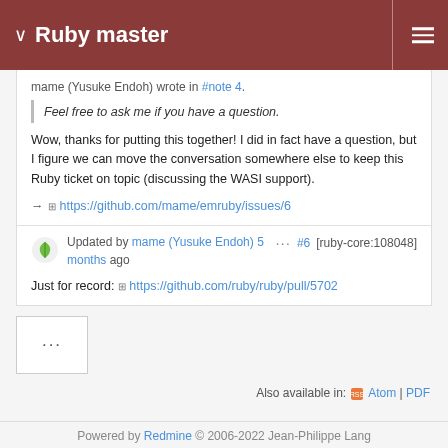Ruby master
mame (Yusuke Endoh) wrote in #note 4:
Feel free to ask me if you have a question.
Wow, thanks for putting this together! I did in fact have a question, but I figure we can move the conversation somewhere else to keep this Ruby ticket on topic (discussing the WASI support).
→ https://github.com/mame/emruby/issues/6
Updated by mame (Yusuke Endoh) 5 months ago  ···  #6  [ruby-core:108048]
Just for record: https://github.com/ruby/ruby/pull/5702
···
Also available in: Atom | PDF
Powered by Redmine © 2006-2022 Jean-Philippe Lang